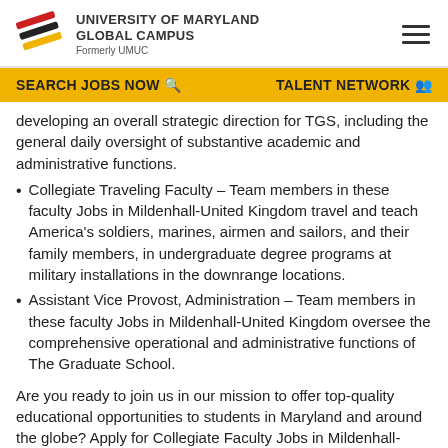UNIVERSITY OF MARYLAND GLOBAL CAMPUS – Formerly UMUC
SEARCH JOBS NOW  |  TALENT NETWORK
developing an overall strategic direction for TGS, including the general daily oversight of substantive academic and administrative functions.
Collegiate Traveling Faculty – Team members in these faculty Jobs in Mildenhall-United Kingdom travel and teach America's soldiers, marines, airmen and sailors, and their family members, in undergraduate degree programs at military installations in the downrange locations.
Assistant Vice Provost, Administration – Team members in these faculty Jobs in Mildenhall-United Kingdom oversee the comprehensive operational and administrative functions of The Graduate School.
Are you ready to join us in our mission to offer top-quality educational opportunities to students in Maryland and around the globe? Apply for Collegiate Faculty Jobs in Mildenhall-United Kingdom at UMGC today.